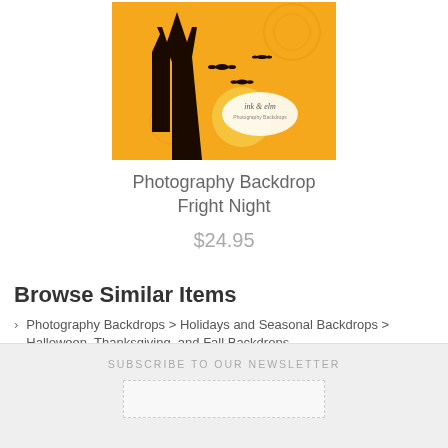[Figure (illustration): Halloween photography backdrop showing dark haunted house silhouette with bats on orange background with Ink & Elm logo]
Photography Backdrop Fright Night
$24.95
Browse Similar Items
Photography Backdrops > Holidays and Seasonal Backdrops > Halloween, Thanksgiving, and Fall Backdrops
Photography Backdrops > Patterns, Whimsical, and Other Backdrops
SUBSCRIBE TO OUR NEWSLETTER